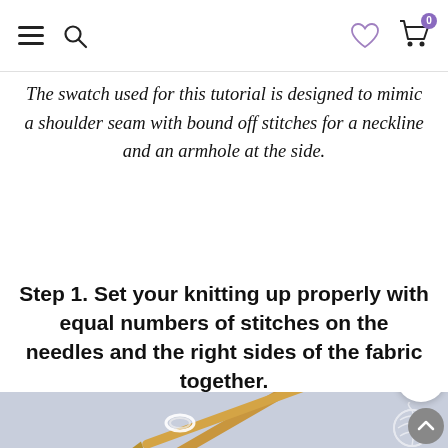Navigation bar with hamburger menu, search icon, heart/wishlist icon, and shopping cart icon with badge 0
The swatch used for this tutorial is designed to mimic a shoulder seam with bound off stitches for a neckline and an armhole at the side.
Step 1. Set your knitting up properly with equal numbers of stitches on the needles and the right sides of the fabric together.
[Figure (photo): Photo of wooden knitting needles bundled together with white yarn, placed on a light blue-grey background. A small yarn ball watermark/logo appears in the top right corner of the photo. A scroll-to-top button and a chat button overlay the bottom-right of the photo.]